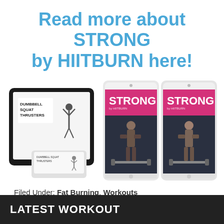Read more about STRONG by HIITBURN here!
[Figure (photo): A dark iPad showing a dumbbell squat thruster workout page, and two white tablets showing the STRONG by HIITBURN program cover with a female athlete lifting a barbell]
Filed Under: Fat Burning, Workouts
LATEST WORKOUT